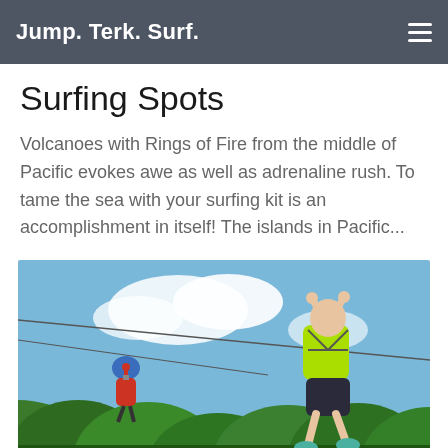Jump. Terk. Surf.
Surfing Spots
Volcanoes with Rings of Fire from the middle of Pacific evokes awe as well as adrenaline rush. To tame the sea with your surfing kit is an accomplishment in itself! The islands in Pacific...
[Figure (photo): Two people ziplining over lush green forest canopy against a blue sky with clouds. The person in the foreground wears a neon yellow/green vest and dark shorts, gripping the zipline cable overhead. A second person in a red top and blue helmet is visible in the background left.]